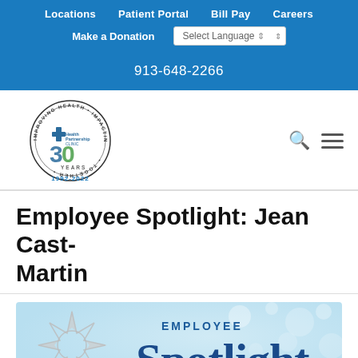Locations | Patient Portal | Bill Pay | Careers | Make a Donation | Select Language
913-648-2266
[Figure (logo): Health Partnership Clinic 30 Years 1992-2022 circular logo with tagline Improving Health Impacting Lives Together]
Employee Spotlight: Jean Cast-Martin
[Figure (illustration): Employee Spotlight graphic with decorative sun/star icon and text EMPLOYEE Spotlight on light blue background with bokeh circles]